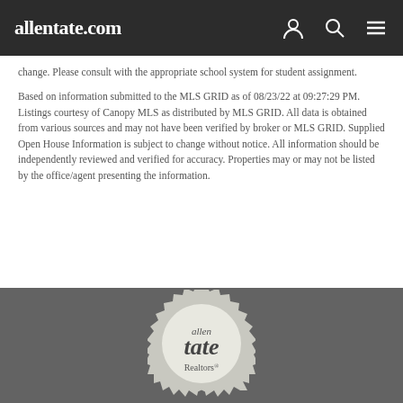allentate.com
change. Please consult with the appropriate school system for student assignment.
Based on information submitted to the MLS GRID as of 08/23/22 at 09:27:29 PM. Listings courtesy of Canopy MLS as distributed by MLS GRID. All data is obtained from various sources and may not have been verified by broker or MLS GRID. Supplied Open House Information is subject to change without notice. All information should be independently reviewed and verified for accuracy. Properties may or may not be listed by the office/agent presenting the information.
[Figure (logo): Allen Tate Realtors circular badge logo in light grey/white on dark grey background]